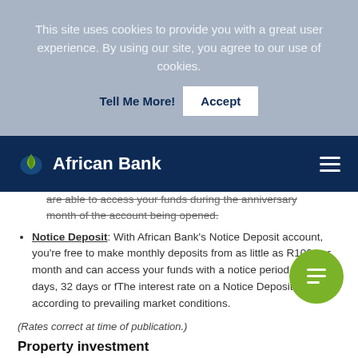This site uses cookies to provide you with a great user experience. By using our site, you agree to our use of cookies.
Tell Me More!  Accept
African Bank
are able to access your funds during the anniversary month of the account being opened.
Notice Deposit: With African Bank's Notice Deposit account, you're free to make monthly deposits from as little as R100 per month and can access your funds with a notice period of seven days, 32 days or [truncated]. The interest rate on a Notice Deposit accounts [truncated] according to prevailing market conditions.
(Rates correct at time of publication.)
Property investment